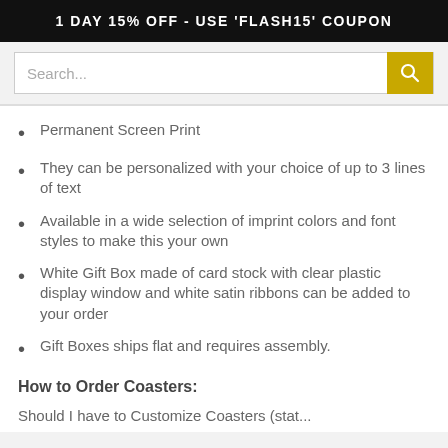1 DAY 15% OFF - USE 'FLASH15' COUPON
Search...
Permanent Screen Print
They can be personalized with your choice of up to 3 lines of text
Available in a wide selection of imprint colors and font styles to make this your own
White Gift Box made of card stock with clear plastic display window and white satin ribbons can be added to your order
Gift Boxes ships flat and requires assembly.
How to Order Coasters:
Should I have to Customize Coasters (starts cut off)